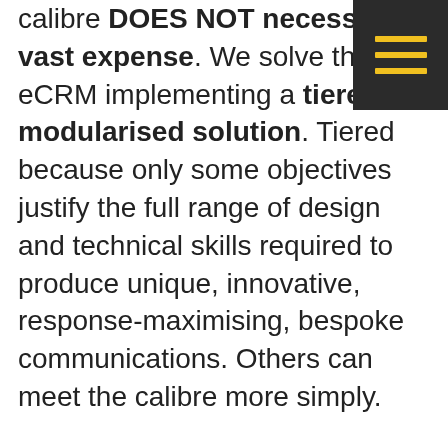calibre DOES NOT necessitate vast expense. We solve this in eCRM implementing a tiered modularised solution. Tiered because only some objectives justify the full range of design and technical skills required to produce unique, innovative, response-maximising, bespoke communications. Others can meet the calibre more simply.
In the bricks and mortar world you can do your brand severe damage through bad customer treatment, untidy retail space, poor packaging, etc. The digital equivalent are things like uninspiring design, incorrect personalisation, stretched logos, broken links and communications, for example emails,